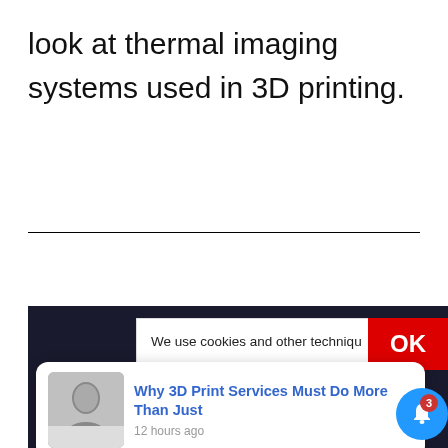look at thermal imaging systems used in 3D printing.
[Figure (screenshot): Dark background image area with cookie consent banner overlay, OK button, notification card showing 'Why 3D Print Services Must Do More Than Just' posted 12 hours ago with a woman's photo, and a blue bell notification button with badge count 3.]